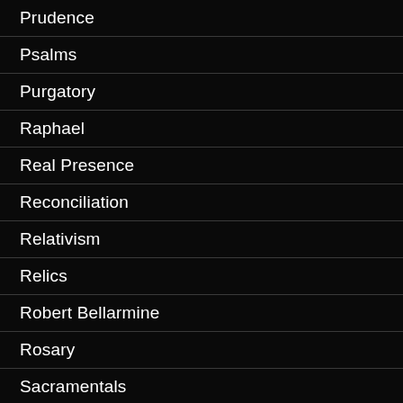Prudence
Psalms
Purgatory
Raphael
Real Presence
Reconciliation
Relativism
Relics
Robert Bellarmine
Rosary
Sacramentals
Sacraments